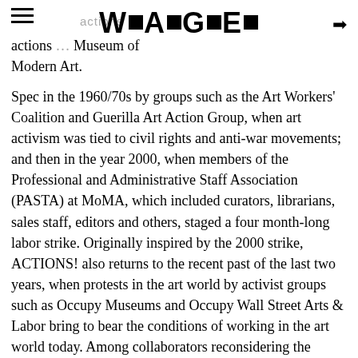W■A■G■E■
actions … Museum of Modern Art.
Spec in the 1960/70s by groups such as the Art Workers' Coalition and Guerilla Art Action Group, when art activism was tied to civil rights and anti-war movements; and then in the year 2000, when members of the Professional and Administrative Staff Association (PASTA) at MoMA, which included curators, librarians, sales staff, editors and others, staged a four month-long labor strike. Originally inspired by the 2000 strike, ACTIONS! also returns to the recent past of the last two years, when protests in the art world by activist groups such as Occupy Museums and Occupy Wall Street Arts & Labor bring to bear the conditions of working in the art world today. Among collaborators reconsidering the intersection of art, labor, community, and politics today are union members, museum workers,